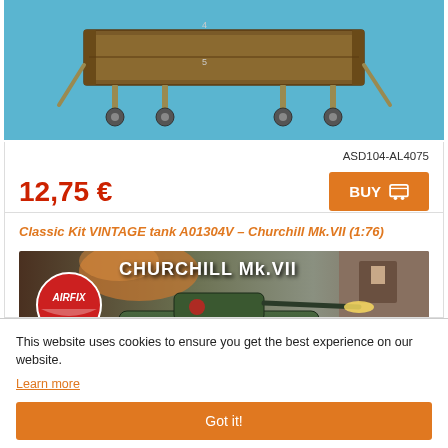[Figure (photo): Partial view of a scale model aircraft ground equipment cart on blue background]
ASD104-AL4075
12,75 €
BUY
Classic Kit VINTAGE tank A01304V – Churchill Mk.VII (1:76)
[Figure (photo): Airfix Churchill Mk.VII model kit box art showing tank in action]
This website uses cookies to ensure you get the best experience on our website.
Learn more
Got it!